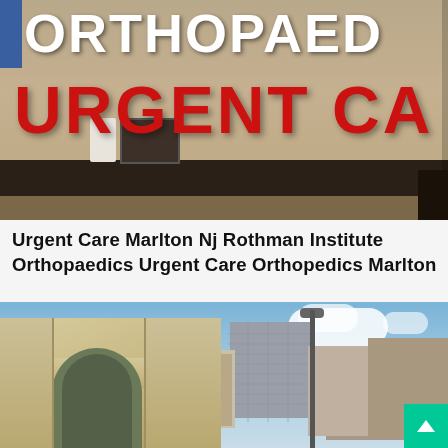[Figure (photo): Photograph of an Orthopaedics Urgent Care building sign. Large white letters spell 'ORTHOPAED' and bold red letters spell 'URGENT CA'. Below is a dark awning and beige storefront.]
Urgent Care Marlton Nj Rothman Institute Orthopaedics Urgent Care Orthopedics Marlton
[Figure (photo): Photograph of an outdoor urban scene with a stone archway gate, bare trees, city buildings in the background, a street lamp, and blue sky with white clouds. A teal/green scroll-to-top button is visible in the bottom-right corner.]